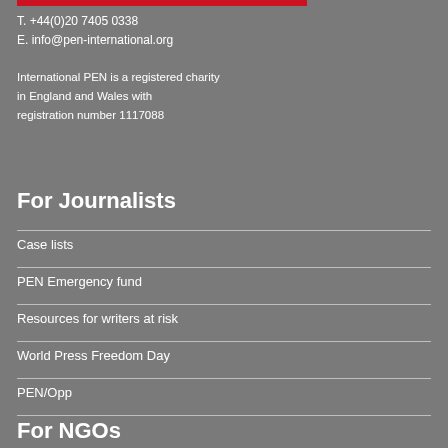T. +44(0)20 7405 0338
E. info@pen-international.org
International PEN is a registered charity in England and Wales with registration number 1117088
For Journalists
Case lists
PEN Emergency fund
Resources for writers at risk
World Press Freedom Day
PEN/Opp
For NGOs